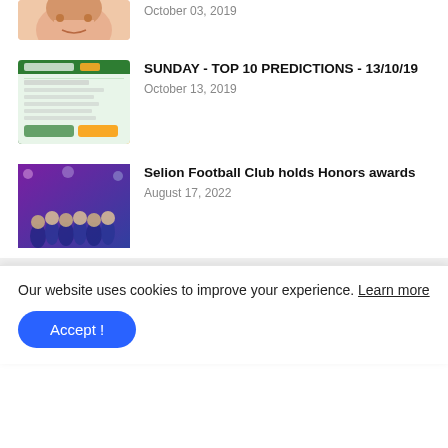[Figure (photo): Partial face/person image, cropped at top]
October 03, 2019
[Figure (screenshot): Betting slip / prediction spreadsheet screenshot with green header]
SUNDAY - TOP 10 PREDICTIONS - 13/10/19
October 13, 2019
[Figure (photo): Group photo of Selion Football Club members at awards ceremony, purple lighting]
Selion Football Club holds Honors awards
August 17, 2022
Hot Slip
Error: No Results Found
Our website uses cookies to improve your experience. Learn more
Accept !